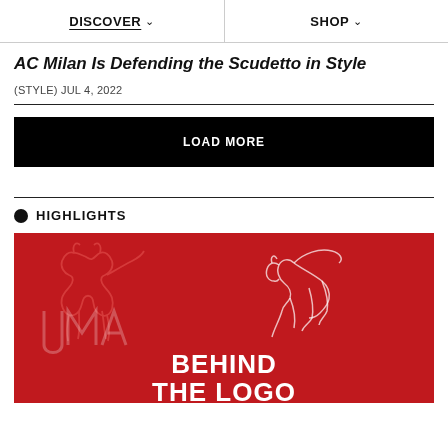DISCOVER   SHOP
AC Milan Is Defending the Scudetto in Style
(STYLE) JUL 4, 2022
LOAD MORE
HIGHLIGHTS
[Figure (illustration): Puma branded red banner showing two puma cat outlines, 'PUMA' text on the left, and bold white text reading 'BEHIND THE LOGO' at the bottom center]